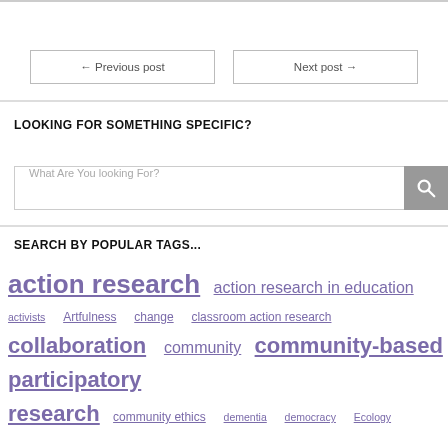← Previous post
Next post →
LOOKING FOR SOMETHING SPECIFIC?
What Are You looking For?
SEARCH BY POPULAR TAGS...
action research  action research in education  activists  Artfulness  change  classroom action research  collaboration  community  community-based participatory research  community ethics  dementia  democracy  Ecology